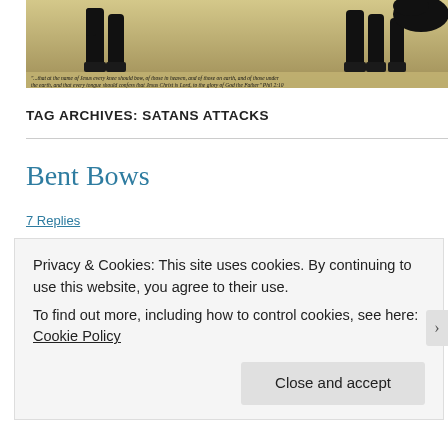[Figure (photo): Header image showing black horse legs/hooves on dry grass background with an italic Bible verse caption below]
"...that at the name of Jesus every knee should bow, of those in heaven, and of those on earth, and of those under the earth, and that every tongue should confess that Jesus Christ is Lord, to the glory of God the Father" Phil 2:10
TAG ARCHIVES: SATANS ATTACKS
Bent Bows
7 Replies
Privacy & Cookies: This site uses cookies. By continuing to use this website, you agree to their use.
To find out more, including how to control cookies, see here: Cookie Policy